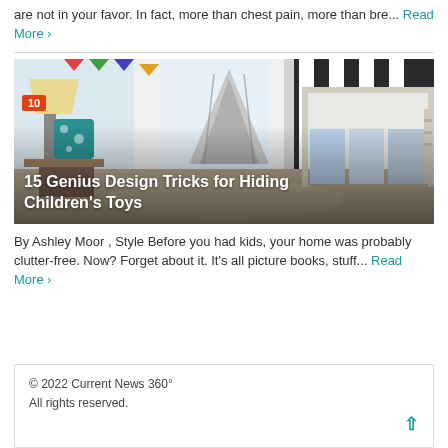are not in your favor. In fact, more than chest pain, more than bre... Read More ›
[Figure (photo): Interior of a children's bedroom with a lamp, teepee tent, loft bed with storage, and colorful decorations. Badge showing number 10. Title overlay: 15 Genius Design Tricks for Hiding Children's Toys]
By Ashley Moor , Style Before you had kids, your home was probably clutter-free. Now? Forget about it. It's all picture books, stuff... Read More ›
© 2022 Current News 360°
All rights reserved.